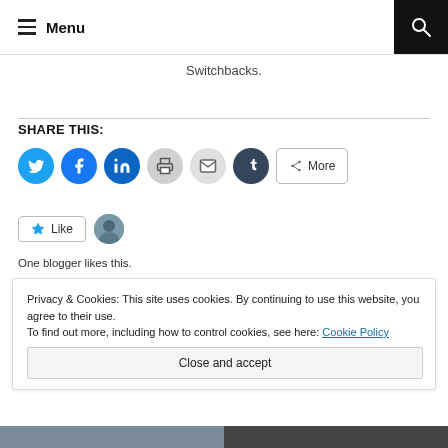Menu
Switchbacks.
SHARE THIS:
Like · One blogger likes this.
Privacy & Cookies: This site uses cookies. By continuing to use this website, you agree to their use.
To find out more, including how to control cookies, see here: Cookie Policy
Close and accept